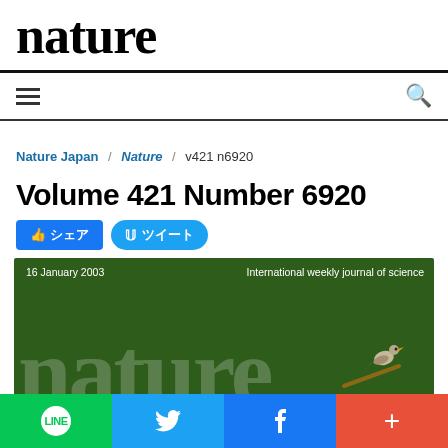nature
Nature Japan / Nature / v421 n6920
Volume 421 Number 6920
[Figure (photo): Cover of Nature journal Volume 421 Number 6920, dated 16 January 2003. Dark green background with large white 'nature' text in serif font. Top-left shows date '16 January 2003' and top-right shows 'International weekly journal of science'. A bird illustration appears in the lower right area.]
LINE  Twitter  Facebook  +